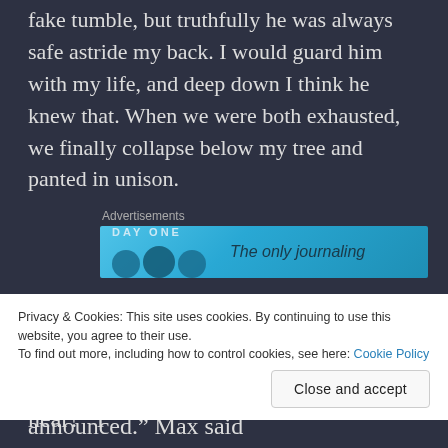fake tumble, but truthfully he was always safe astride my back. I would guard him with my life, and deep down I think he knew that. When we were both exhausted, we finally collapse below my tree and panted in unison.
[Figure (other): Advertisement banner for Day One journaling app with blue gradient background, icons, and text 'The only journaling']
“Can you tell me the story now?” Max begged.
“Alright. Which one would you like to hear?” I
Privacy & Cookies: This site uses cookies. By continuing to use this website, you agree to their use.
To find out more, including how to control cookies, see here: Cookie Policy
Close and accept
“Tell me about this king… he announced.” Max said